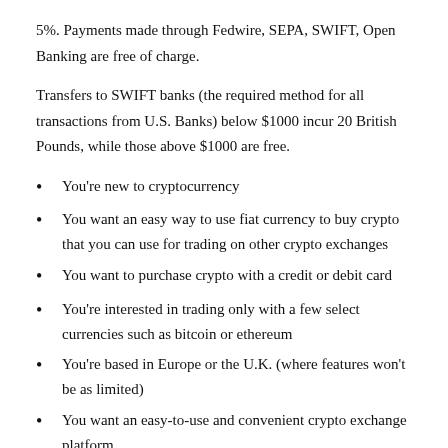5%. Payments made through Fedwire, SEPA, SWIFT, Open Banking are free of charge.
Transfers to SWIFT banks (the required method for all transactions from U.S. Banks) below $1000 incur 20 British Pounds, while those above $1000 are free.
You're new to cryptocurrency
You want an easy way to use fiat currency to buy crypto that you can use for trading on other crypto exchanges
You want to purchase crypto with a credit or debit card
You're interested in trading only with a few select currencies such as bitcoin or ethereum
You're based in Europe or the U.K. (where features won't be as limited)
You want an easy-to-use and convenient crypto exchange platform